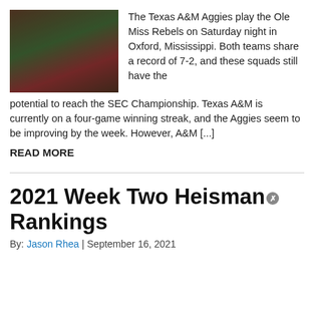[Figure (photo): Football players from Texas A&M Aggies in action during a game, maroon uniforms]
The Texas A&M Aggies play the Ole Miss Rebels on Saturday night in Oxford, Mississippi. Both teams share a record of 7-2, and these squads still have the potential to reach the SEC Championship. Texas A&M is currently on a four-game winning streak, and the Aggies seem to be improving by the week. However, A&M [...]
READ MORE
2021 Week Two Heisman Rankings
By: Jason Rhea | September 16, 2021